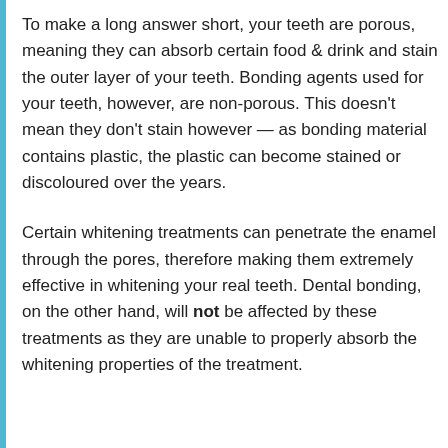To make a long answer short, your teeth are porous, meaning they can absorb certain food & drink and stain the outer layer of your teeth. Bonding agents used for your teeth, however, are non-porous. This doesn't mean they don't stain however — as bonding material contains plastic, the plastic can become stained or discoloured over the years.
Certain whitening treatments can penetrate the enamel through the pores, therefore making them extremely effective in whitening your real teeth. Dental bonding, on the other hand, will not be affected by these treatments as they are unable to properly absorb the whitening properties of the treatment.